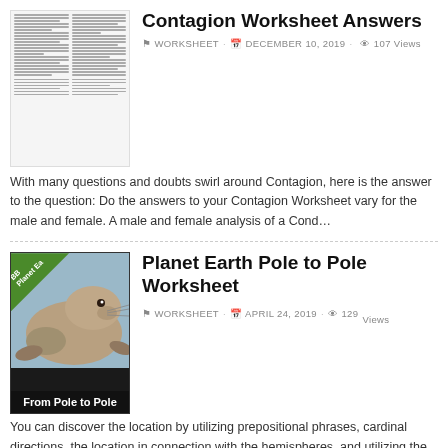[Figure (illustration): Thumbnail of a multi-column document/worksheet preview]
Contagion Worksheet Answers
WORKSHEET · DECEMBER 10, 2019 · 107 Views
With many questions and doubts swirl around Contagion, here is the answer to the question: Do the answers to your Contagion Worksheet vary for the male and female. A male and female analysis of a Cond…
[Figure (illustration): Book cover for BBC Planet Earth: From Pole to Pole, showing a seal on a dark background with a green banner in the top-left corner]
Planet Earth Pole to Pole Worksheet
WORKSHEET · APRIL 24, 2019 · 129 Views
You can discover the location by utilizing prepositional phrases, cardinal directions, the location in connection with the hemispheres, and utilizing the distance scale. The location and extent of whi…